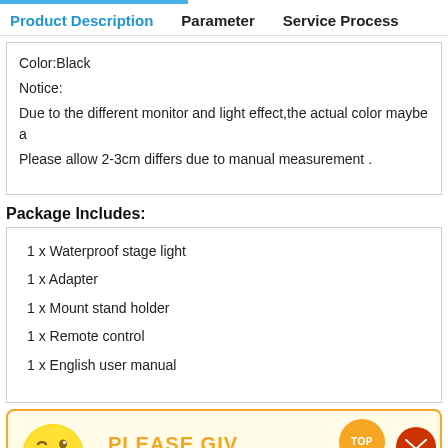Product Description | Parameter | Service Process
Color:Black
Notice:
Due to the different monitor and light effect,the actual color maybe a
Please allow 2-3cm differs due to manual measurement .
Package Includes:
1 x Waterproof stage light
1 x Adapter
1 x Mount stand holder
1 x Remote control
1 x English user manual
[Figure (infographic): Bottom banner with emoji face, 'PLEASE GIV...' text in orange, TOP button and mail icon]